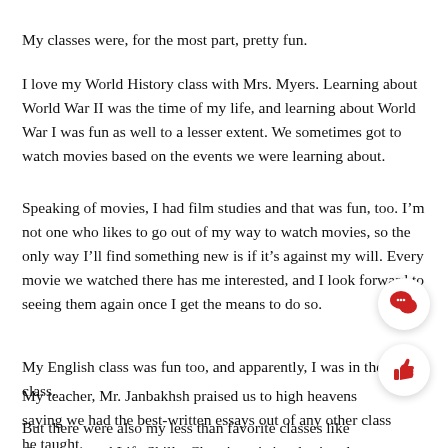My classes were, for the most part, pretty fun.
I love my World History class with Mrs. Myers. Learning about World War II was the time of my life, and learning about World War I was fun as well to a lesser extent. We sometimes got to watch movies based on the events we were learning about.
Speaking of movies, I had film studies and that was fun, too. I’m not one who likes to go out of my way to watch movies, so the only way I’ll find something new is if it’s against my will. Every movie we watched there has me interested, and I look forward to seeing them again once I get the means to do so.
My English class was fun too, and apparently, I was in the best class.
My teacher, Mr. Janbakhsh praised us to high heavens saying we had the best-written essays out of any other class he taught.
But there were also my less than favorite classes like Chemistry and Life Skills. Chemistry is just boring, but Life Skills is just frustra...